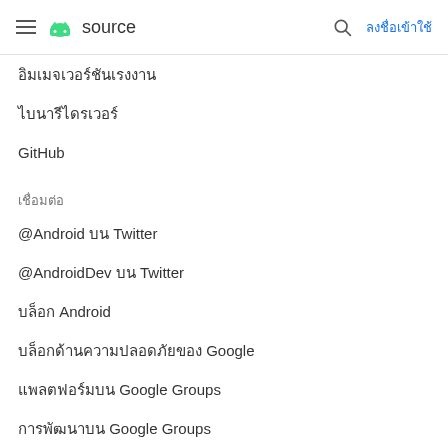source | ลงชื่อเข้าใช้
อิมเมจเวอร์ชันเรงงาน
ไบนารีไดรเวอร์
GitHub
เชื่อมต่อ
@Android บน Twitter
@AndroidDev บน Twitter
บล็อก Android
บล็อกด้านความปลอดภัยของ Google
แพลตฟอร์มบน Google Groups
การพัฒนาบน Google Groups
การพอร์ตบน Google Groups
รับความช่วยเหลือ